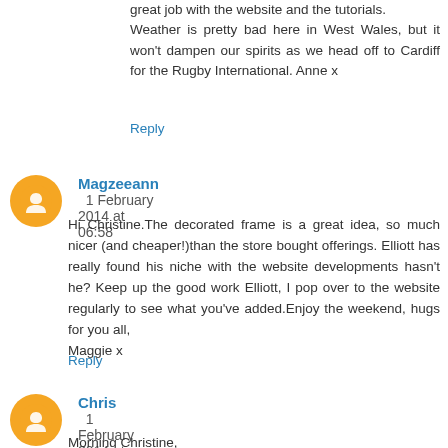great job with the website and the tutorials. Weather is pretty bad here in West Wales, but it won't dampen our spirits as we head off to Cardiff for the Rugby International. Anne x
Reply
Magzeeann 1 February 2014 at 06:58
Hi Christine.The decorated frame is a great idea, so much nicer (and cheaper!)than the store bought offerings. Elliott has really found his niche with the website developments hasn't he? Keep up the good work Elliott, I pop over to the website regularly to see what you've added.Enjoy the weekend, hugs for you all,
Maggie x
Reply
Chris 1 February 2014 at 07:51
Morning Christine,